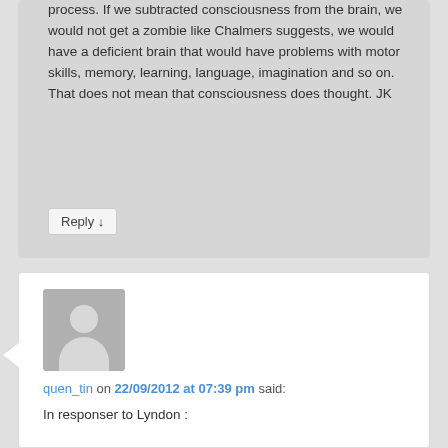process. If we subtracted consciousness from the brain, we would not get a zombie like Chalmers suggests, we would have a deficient brain that would have problems with motor skills, memory, learning, language, imagination and so on. That does not mean that consciousness does thought. JK
Reply ↓
[Figure (illustration): Generic user avatar placeholder image - grey silhouette of a person]
quen_tin on 22/09/2012 at 07:39 pm said:
In responser to Lyndon :

When a farmer builds an irrigation system, would you say that the irrigation system *knows* how to bring water to the plants? Would you say that the connection to the farmer's intention to water his